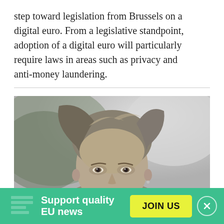step toward legislation from Brussels on a digital euro. From a legislative standpoint, adoption of a digital euro will particularly require laws in areas such as privacy and anti-money laundering.
[Figure (photo): Black and white close-up portrait photograph of a middle-aged woman with medium-length brown hair, looking directly at the camera with a slight smile.]
Support quality EU news
JOIN US